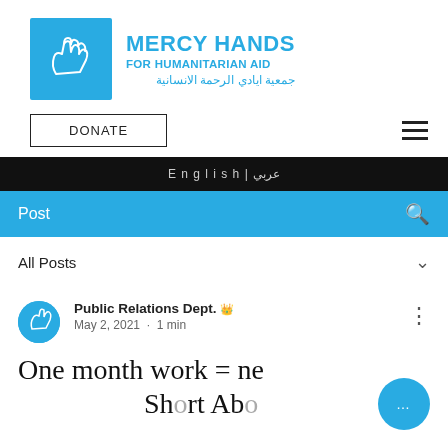[Figure (logo): Mercy Hands for Humanitarian Aid logo: blue square with white hands illustration, next to organization name in blue text in English and Arabic]
[Figure (screenshot): Website navigation bar with DONATE button and hamburger menu icon]
English | عربي
Post
All Posts
Public Relations Dept. 👑
May 2, 2021 · 1 min
One month work = ne...